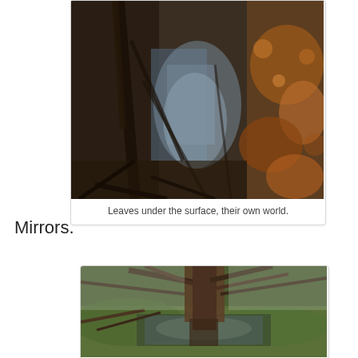[Figure (photo): Aerial or close-up view of autumn leaves and tree reflections on a dark water surface in a forest]
Leaves under the surface, their own world.
Mirrors.
[Figure (photo): A mossy forest scene with a tree trunk and its reflection in a still pond, surrounded by green moss and bare branches]